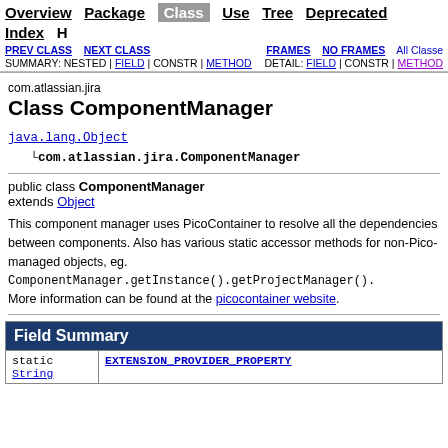Overview | Package | Class | Use | Tree | Deprecated | Index | H...
PREV CLASS | NEXT CLASS | FRAMES | NO FRAMES | All Classes
SUMMARY: NESTED | FIELD | CONSTR | METHOD   DETAIL: FIELD | CONSTR | METHOD
com.atlassian.jira
Class ComponentManager
java.lang.Object
   └com.atlassian.jira.ComponentManager
public class ComponentManager
extends Object
This component manager uses PicoContainer to resolve all the dependencies between components. Also has various static accessor methods for non-Pico-managed objects, eg. ComponentManager.getInstance().getProjectManager(). More information can be found at the picocontainer website.
| Field Summary |
| --- |
| static String | EXTENSION_PROVIDER_PROPERTY |